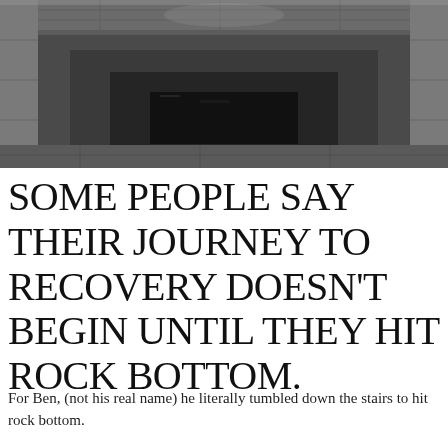[Figure (photo): Black and white photograph of a stone or concrete staircase viewed from above, showing receding rectangular steps leading down to a dark doorway or opening at the bottom.]
SOME PEOPLE SAY THEIR JOURNEY TO RECOVERY DOESN'T BEGIN UNTIL THEY HIT ROCK BOTTOM.
For Ben, (not his real name) he literally tumbled down the stairs to hit rock bottom.